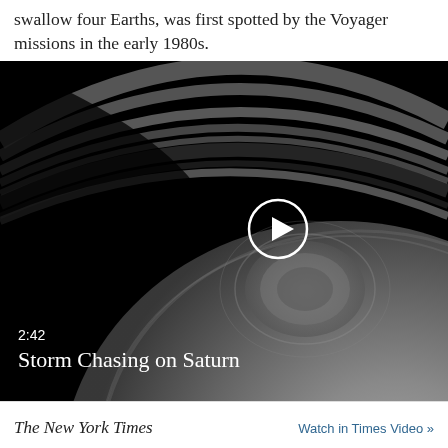swallow four Earths, was first spotted by the Voyager missions in the early 1980s.
[Figure (screenshot): Video thumbnail showing Saturn's south pole storm with rings visible in black and white. A white circular play button is centered on the right half. Bottom left shows '2:42' timestamp and title 'Storm Chasing on Saturn' in white text.]
The New York Times   Watch in Times Video »